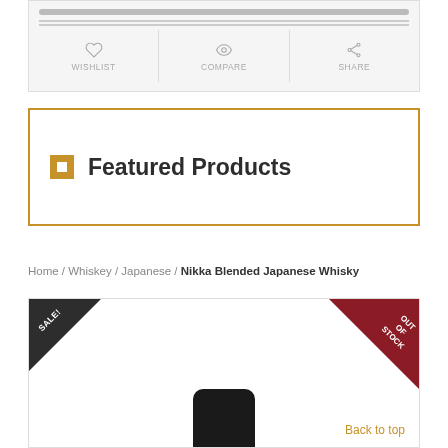[Figure (screenshot): Top card section with progress bars and action icons for WISHLIST, COMPARE, SHARE]
Featured Products
Home / Whiskey / Japanese / Nikka Blended Japanese Whisky
[Figure (photo): Product image of Nikka Blended Japanese Whisky bottle with SALE! badge in top-left corner and OUT OF STOCK badge in top-right corner. Bottle cap visible at bottom center.]